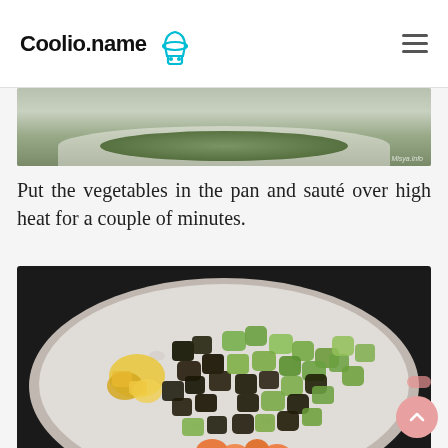Coolio.name
[Figure (photo): Partial view of a plate or pan with vegetables, cropped at top — only bottom portion visible with a watermark reading Misya.info]
Put the vegetables in the pan and sauté over high heat for a couple of minutes.
[Figure (photo): A granite-style frying pan filled with chopped eggplant, zucchini, yellow squash, and carrots, shot from above. Watermark reads Misya.info]
Mix everything with a wooden spoon and cook for a couple of minutes. Then cover with a lid and cook for about 15 minutes